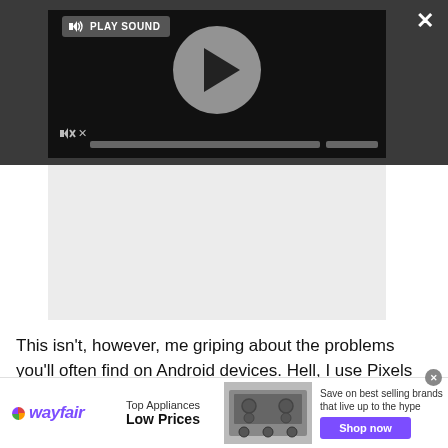[Figure (screenshot): Video player overlay with dark background showing a play button circle, PLAY SOUND label, mute button, progress bar, close button (X), and expand icon. Below video player is a gray advertisement placeholder rectangle.]
This isn't, however, me griping about the problems you'll often find on Android devices. Hell, I use Pixels and they're no strangers to poor decisions and weird bugs.
[Figure (screenshot): Wayfair advertisement banner. Wayfair logo on left with colorful dot. Text: Top Appliances Low Prices. Image of stove/range appliance. Text: Save on best selling brands that live up to the hype. Purple Shop now button.]